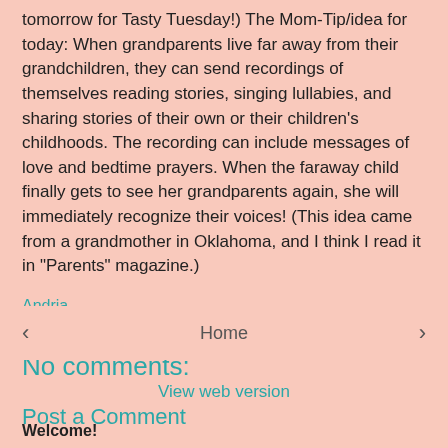tomorrow for Tasty Tuesday!) The Mom-Tip/idea for today: When grandparents live far away from their grandchildren, they can send recordings of themselves reading stories, singing lullabies, and sharing stories of their own or their children's childhoods. The recording can include messages of love and bedtime prayers. When the faraway child finally gets to see her grandparents again, she will immediately recognize their voices! (This idea came from a grandmother in Oklahoma, and I think I read it in "Parents" magazine.)
Andria
No comments:
Post a Comment
‹   Home   ›
View web version
Welcome!